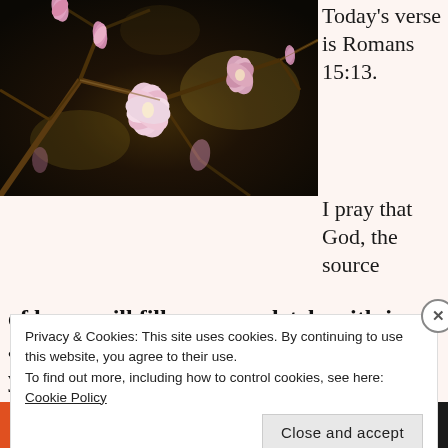[Figure (photo): Magnolia flowers blooming on branches, pink blossoms against dark background]
Today's verse is Romans 15:13.
I pray that God, the source of hope, will fill you completely with joy and peace because you trust in him. Then you will overflow with confident hope through the power of the Holy
Privacy & Cookies: This site uses cookies. By continuing to use this website, you agree to their use.
To find out more, including how to control cookies, see here: Cookie Policy
Close and accept
[Figure (screenshot): Bottom banner with orange background showing 'email with more privacy.' text and a cartoon bird icon]